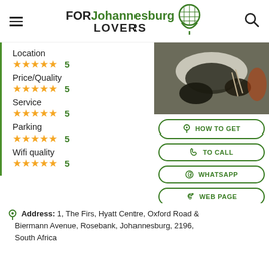FORJohannesburgLOVERS (logo with hamburger menu and search icon)
Location
★★★★★ 5
Price/Quality
★★★★★ 5
Service
★★★★★ 5
Parking
★★★★★ 5
Wifi quality
★★★★★ 5
[Figure (photo): Photo of food on a plate at a restaurant table, dark dish with garnish]
HOW TO GET
TO CALL
WHATSAPP
WEB PAGE
Address: 1, The Firs, Hyatt Centre, Oxford Road & Biermann Avenue, Rosebank, Johannesburg, 2196, South Africa